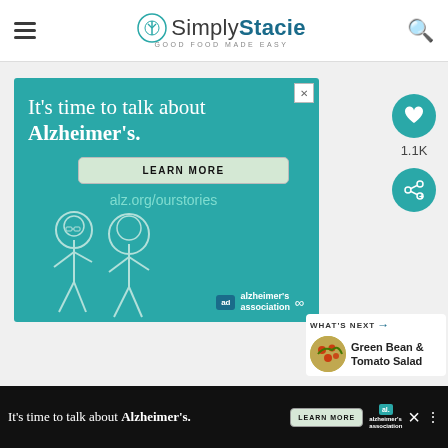Simply Stacie — GOOD FOOD MADE EASY
[Figure (illustration): Alzheimer's Association advertisement banner. Teal background with white text: 'It's time to talk about Alzheimer's.' A 'LEARN MORE' button and 'alz.org/ourstories' URL. Illustrated sketch of elderly man and caregiver woman at bottom left. Alzheimer's Association logo bottom right with 'ad' badge.]
[Figure (infographic): Side panel with teal heart button showing 1.1K likes, and a share button below.]
[Figure (infographic): What's Next panel showing a circular food photo thumbnail and text 'Green Bean & Tomato Salad' with arrow label.]
[Figure (illustration): Bottom banner advertisement: dark background with white text 'It's time to talk about Alzheimer's.' with LEARN MORE button and Alzheimer's Association branding, plus X and dots icons.]